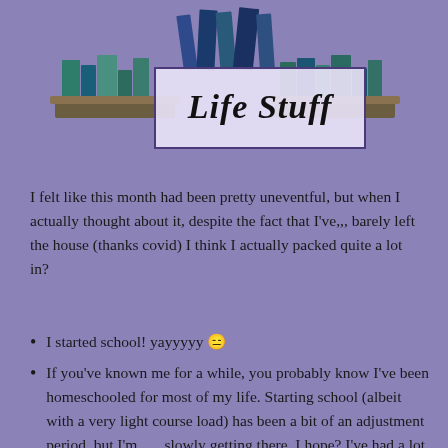[Figure (illustration): Decorative header image showing stacked books on a shelf with a centered white/light rectangle containing the cursive text 'Life Stuff'. Purple background with illustrated books in green, teal, and blue tones.]
I felt like this month had been pretty uneventful, but when I actually thought about it, despite the fact that I've,,, barely left the house (thanks covid) I think I actually packed quite a lot in?
I started school! yayyyyy 😑
If you've known me for a while, you probably know I've been homeschooled for most of my life. Starting school (albeit with a very light course load) has been a bit of an adjustment period, but I'm . . . slowly getting there, I hope? I've had a lot of breakdowns over it but everything is fineeeeeeee
also I got enrolled in the wrong class by accident, so sorting that out was a fun time 🙃 it was relatively